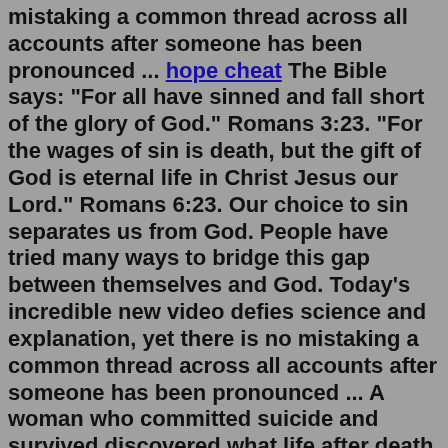mistaking a common thread across all accounts after someone has been pronounced ... hope cheat The Bible says: "For all have sinned and fall short of the glory of God." Romans 3:23. "For the wages of sin is death, but the gift of God is eternal life in Christ Jesus our Lord." Romans 6:23. Our choice to sin separates us from God. People have tried many ways to bridge this gap between themselves and God. Today's incredible new video defies science and explanation, yet there is no mistaking a common thread across all accounts after someone has been pronounced ... A woman who committed suicide and survived discovered what life after death is and comes back with a message. Tamara Laroux believed that there was no way to live a completely happy life. She came from a broken home and grew up with a sense of rejection. She began to perceive herself as a burden to other people.Sep 06, 2017 · Life after death stories are somewhat common, in fact a number of famous celebrities as well as normal people have had a life after death experience. Celebrities who have life after